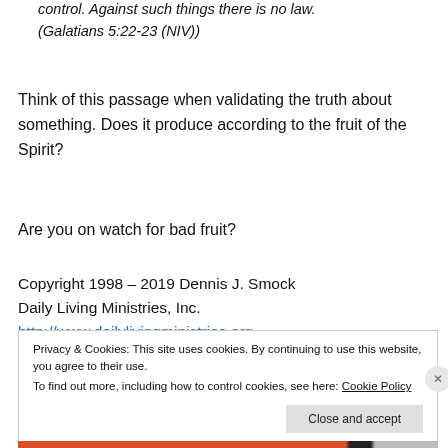control. Against such things there is no law.
(Galatians 5:22-23 (NIV))
Think of this passage when validating the truth about something. Does it produce according to the fruit of the Spirit?
Are you on watch for bad fruit?
Copyright 1998 – 2019 Dennis J. Smock
Daily Living Ministries, Inc.
http://www.dailylivingministries.org
Privacy & Cookies: This site uses cookies. By continuing to use this website, you agree to their use.
To find out more, including how to control cookies, see here: Cookie Policy
Close and accept